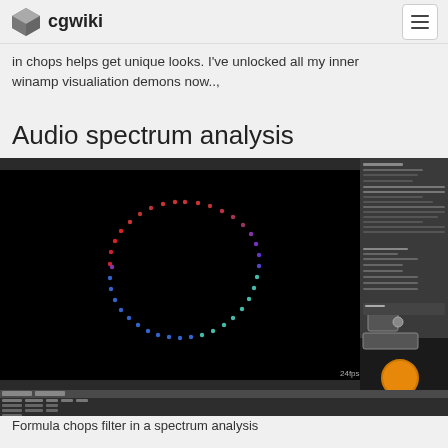cgwiki
in chops helps get unique looks. I've unlocked all my inner winamp visualiation demons now..,
Audio spectrum analysis
[Figure (screenshot): Screenshot of a 3D/VFX software (likely Houdini) showing a dotted ellipse shape rendered in 3D viewport on a black background, with node graph and parameter panels visible on the right side. Below the viewport is a spreadsheet/table panel showing numerical data.]
Formula chops filter in a spectrum analysis